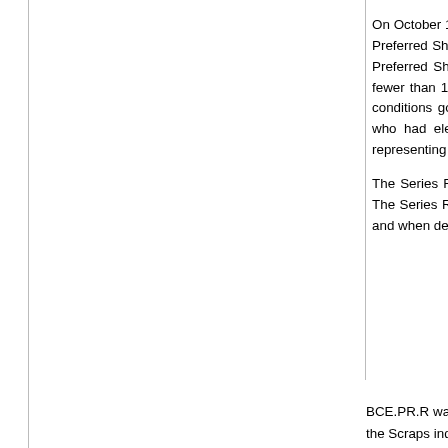On October 12, 2010, BCE notified holders of its Series Q Preferred Shares that they could elect to convert their Series Q Preferred Shares subject to the terms and conditions governing those shares. Only 71,965 of BCE's 8,000,000 Series Q Preferred Shares were surrendered for conversion into Series R Preferred Shares. As this would result in there being fewer than 1,000,000 Series Q Preferred Shares outstanding, no Series Q Preferred Shares will, as per the terms and conditions governing those shares, be converted on December 1, 2010 into Series R Preferred Shares. Shareholders who had elected to convert their Series Q Preferred Shares will be receiving, by December 1, 2010, certificates representing the number of shares tendered for conversion.
The Series R Preferred Shares will continue to be listed on the Toronto Stock Exchange under the symbol BCE.PR.R. The Series R Preferred Shares will pay on a quarterly basis for the five-year period beginning on December 1, 2010, as and when declared by the Board of Directors of BCE, a fixed dividend based on an annual dividend rate of 4.490%.
BCE.PR.R was last mentioned on PrefBlog when the conversion was announced. BCE.PR.R is tracked by HIMIPref™ in the Scraps index on credit concerns.